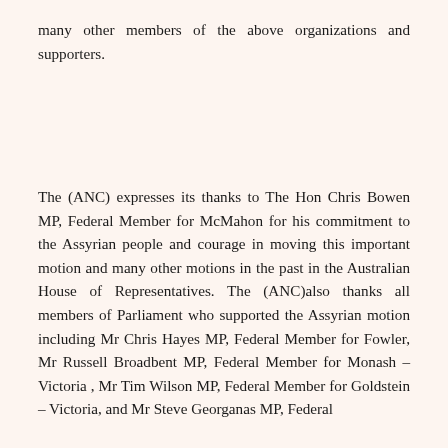many other members of the above organizations and supporters.
The (ANC) expresses its thanks to The Hon Chris Bowen MP, Federal Member for McMahon for his commitment to the Assyrian people and courage in moving this important motion and many other motions in the past in the Australian House of Representatives. The (ANC)also thanks all members of Parliament who supported the Assyrian motion including Mr Chris Hayes MP, Federal Member for Fowler, Mr Russell Broadbent MP, Federal Member for Monash – Victoria , Mr Tim Wilson MP, Federal Member for Goldstein – Victoria, and Mr Steve Georganas MP, Federal